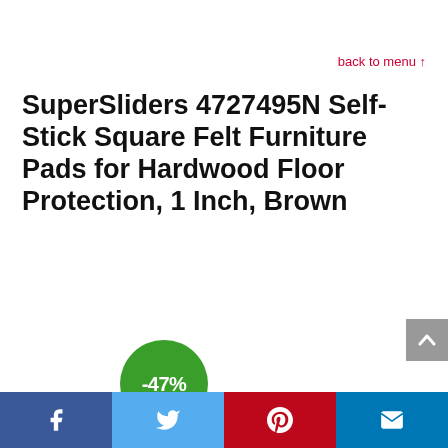back to menu ↑
SuperSliders 4727495N Self-Stick Square Felt Furniture Pads for Hardwood Floor Protection, 1 Inch, Brown
[Figure (infographic): Green circle badge showing -47% discount]
[Figure (infographic): Social share footer bar with Facebook, Twitter, Pinterest, and email icons]